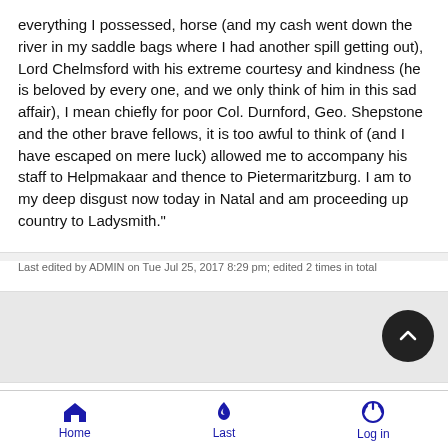everything I possessed, horse (and my cash went down the river in my saddle bags where I had another spill getting out), Lord Chelmsford with his extreme courtesy and kindness (he is beloved by every one, and we only think of him in this sad affair), I mean chiefly for poor Col. Durnford, Geo. Shepstone and the other brave fellows, it is too awful to think of (and I have escaped on mere luck) allowed me to accompany his staff to Helpmakaar and thence to Pietermaritzburg. I am to my deep disgust now today in Natal and am proceeding up country to Ladysmith."
Last edited by ADMIN on Tue Jul 25, 2017 8:29 pm; edited 2 times in total
Fri Jul 12, 2013 7:11 pm
Home  Last  Log in